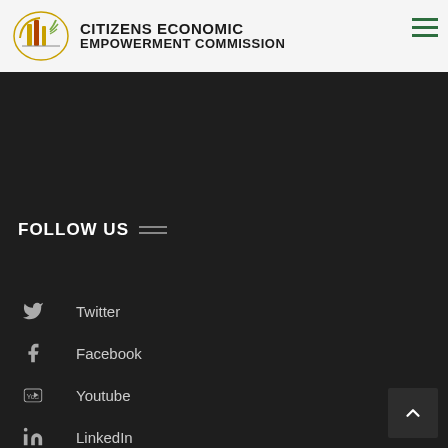Citizens Economic Empowerment Commission
body corporate established through the enactment of the Citizens Economic Empowerment Act No. 9 of 2006
FOLLOW US
Twitter
Facebook
Youtube
LinkedIn